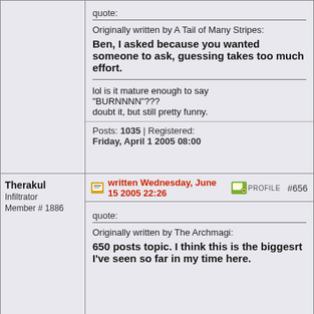quote:
Originally written by A Tail of Many Stripes:
Ben, I asked because you wanted someone to ask, guessing takes too much effort.
lol is it mature enough to say "BURNNNN"???
doubt it, but still pretty funny.
Posts: 1035 | Registered: Friday, April 1 2005 08:00
Therakul
Infiltrator
Member # 1886
written Wednesday, June 15 2005 22:26  PROFILE  #656
quote:
Originally written by The Archmagi:
650 posts topic. I think this is the biggesrt I've seen so far in my time here.